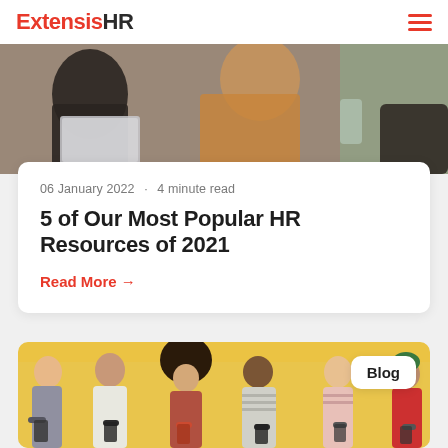ExtensisHR
[Figure (photo): Two people working at laptops in an office setting, one in dark clothing and one in tan/brown top]
06 January 2022 · 4 minute read
5 of Our Most Popular HR Resources of 2021
Read More →
[Figure (photo): Six young diverse people standing against a yellow/tan wall, all looking down at their smartphones. A 'Blog' badge overlays the top right corner.]